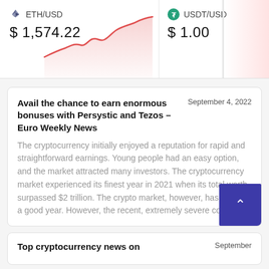[Figure (line-chart): ETH/USD upward trending line chart in red/pink]
ETH/USD
$ 1,574.22
USDT/USD
$ 1.00
Avail the chance to earn enormous bonuses with Persystic and Tezos – Euro Weekly News
September 4, 2022
The cryptocurrency initially enjoyed a reputation for rapid and straightforward earnings. Young people had an easy option, and the market attracted many investors. The cryptocurrency market experienced its finest year in 2021 when its total worth surpassed $2 trillion. The crypto market, however, has not had a good year. However, the recent, extremely severe collaps
Top cryptocurrency news on
September